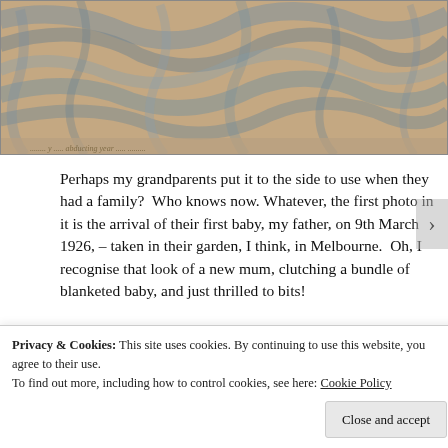[Figure (photo): Close-up of an old marbled book cover with blue and brown swirling pattern, aged and worn edges, with faint handwriting visible along the bottom edge.]
Perhaps my grandparents put it to the side to use when they had a family?  Who knows now.  Whatever, the first photo in it is the arrival of their first baby, my father, on 9th March 1926, – taken in their garden, I think, in Melbourne.  Oh, I recognise that look of a new mum, clutching a bundle of blanketed baby, and just thrilled to bits!
[Figure (photo): Partially visible old black and white photograph at the bottom of the page, partially obscured by the cookie consent banner.]
Privacy & Cookies: This site uses cookies. By continuing to use this website, you agree to their use.
To find out more, including how to control cookies, see here: Cookie Policy
Close and accept